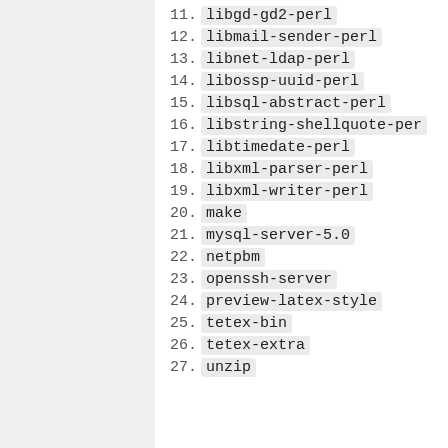11. libgd-gd2-perl
12. libmail-sender-perl
13. libnet-ldap-perl
14. libossp-uuid-perl
15. libsql-abstract-perl
16. libstring-shellquote-perl
17. libtimedate-perl
18. libxml-parser-perl
19. libxml-writer-perl
20. make
21. mysql-server-5.0
22. netpbm
23. openssh-server
24. preview-latex-style
25. tetex-bin
26. tetex-extra
27. unzip